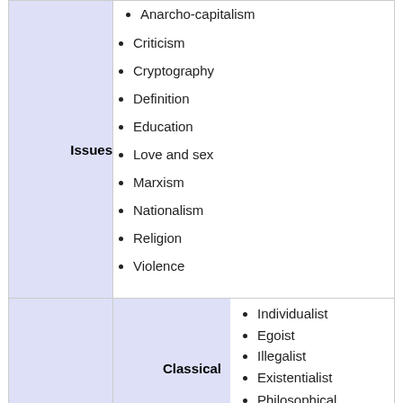Issues
Anarcho-capitalism
Criticism
Cryptography
Definition
Education
Love and sex
Marxism
Nationalism
Religion
Violence
Classical
Individualist
Egoist
Illegalist
Existentialist
Philosophical
Mutualist